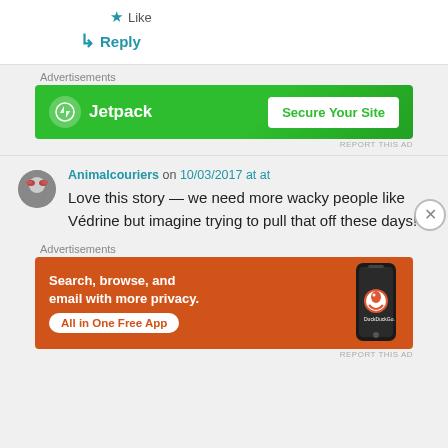★ Like
↳ Reply
Advertisements
[Figure (screenshot): Jetpack advertisement banner with green background showing Jetpack logo and 'Secure Your Site' button]
REPORT THIS AD
Animalcouriers on 10/03/2017 at at
Love this story — we need more wacky people like Védrine but imagine trying to pull that off these days!
Advertisements
[Figure (screenshot): DuckDuckGo advertisement banner with orange background showing 'Search, browse, and email with more privacy. All in One Free App' and DuckDuckGo logo with phone image]
REPORT THIS AD